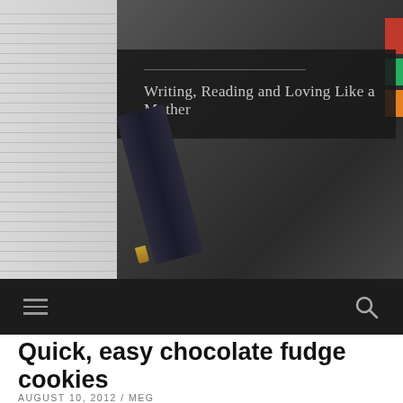[Figure (photo): Blog header image showing notebook pages on the left and a pen/dark background on the right, with a dark overlay box containing the blog subtitle 'Writing, Reading and Loving Like a Mother']
Writing, Reading and Loving Like a Mother
[Figure (screenshot): Dark navigation bar with hamburger menu icon on the left and search magnifying glass icon on the right]
Quick, easy chocolate fudge cookies
AUGUST 10, 2012 / MEG
[Figure (photo): Bottom portion of a food photo showing the text 'chocolate fudge cookies' in cursive script over a blurred background]